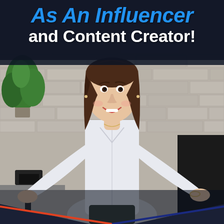As An Influencer and Content Creator!
[Figure (photo): A smiling woman with brown hair wearing a light blue button-up shirt stands with arms spread wide in a shrugging gesture, posed in front of a gray stone fireplace with plants and decor visible. She appears enthusiastic and welcoming.]